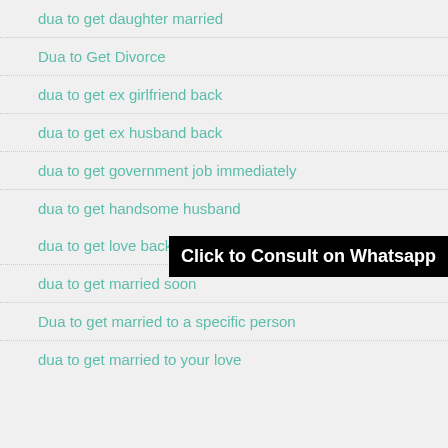dua to get daughter married
Dua to Get Divorce
dua to get ex girlfriend back
dua to get ex husband back
dua to get government job immediately
dua to get handsome husband
dua to get love back
dua to get married soon
Dua to get married to a specific person
dua to get married to your love
Click to Consult on Whatsapp